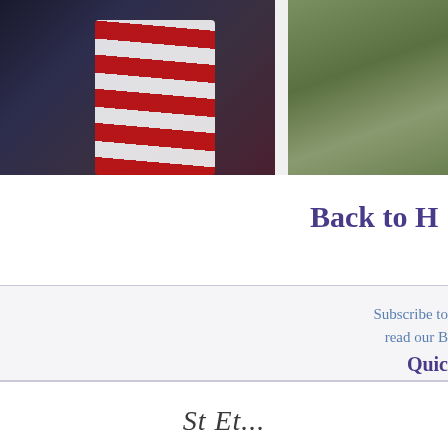[Figure (photo): Two photos side by side: left photo shows two people (adult and child) closely together, child wearing red and white striped shirt; right photo shows a person standing outdoors on grass.]
Back to H
Subscribe to
read our B
Quic
Home
About
Contact
Maternity & Parenting Support
Directory
Events
St Et...